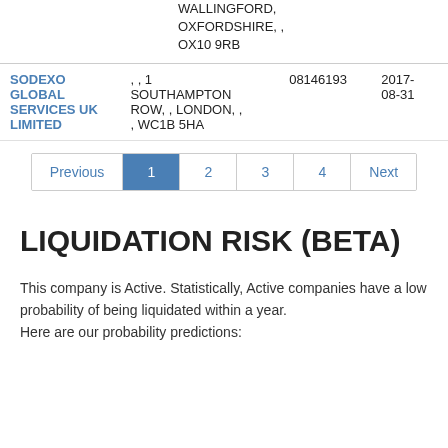| Company | Address | Number | Date |
| --- | --- | --- | --- |
|  | WALLINGFORD, OXFORDSHIRE, , OX10 9RB |  |  |
| SODEXO GLOBAL SERVICES UK LIMITED | , , 1 SOUTHAMPTON ROW, , LONDON, , , WC1B 5HA | 08146193 | 2017-08-31 |
Previous 1 2 3 4 Next
LIQUIDATION RISK (BETA)
This company is Active. Statistically, Active companies have a low probability of being liquidated within a year.
Here are our probability predictions: